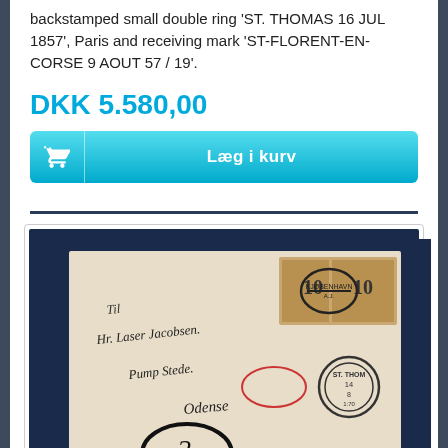backstamped small double ring 'ST. THOMAS 16 JUL 1857', Paris and receiving mark 'ST-FLORENT-EN-CORSE 9 AOUT 57 / 19'.
DKK 5.580,00
Læg i kurv
[Figure (photo): Photograph of an antique postal envelope/letter with handwritten address to 'Hr. Laser Jacobsen, Pump Stede, Odense', bearing brown stamps with circular cancellations and a postmark reading 'ST. THOMAS 14 8', displayed on a dark navy blue background mount.]